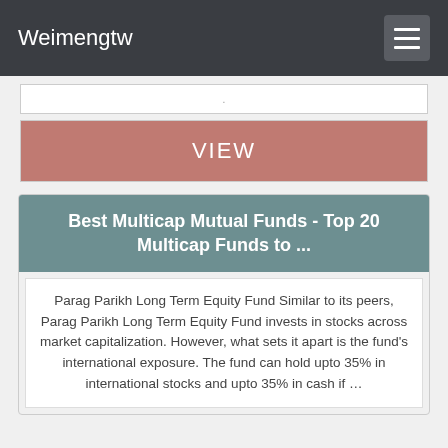Weimengtw
.
VIEW
Best Multicap Mutual Funds - Top 20 Multicap Funds to ...
Parag Parikh Long Term Equity Fund Similar to its peers, Parag Parikh Long Term Equity Fund invests in stocks across market capitalization. However, what sets it apart is the fund's international exposure. The fund can hold upto 35% in international stocks and upto 35% in cash if …